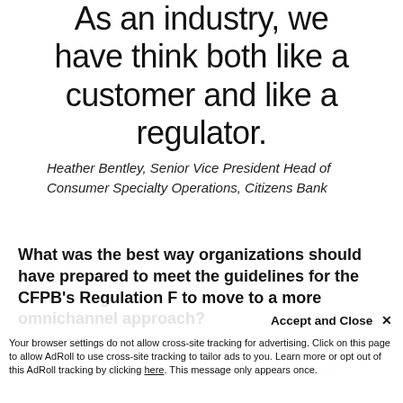As an industry, we have think both like a customer and like a regulator.
Heather Bentley, Senior Vice President Head of Consumer Specialty Operations, Citizens Bank
What was the best way organizations should have prepared to meet the guidelines for the CFPB's Regulation F to move to a more omnichannel approach?
RR: The best thing any organization could have done for...